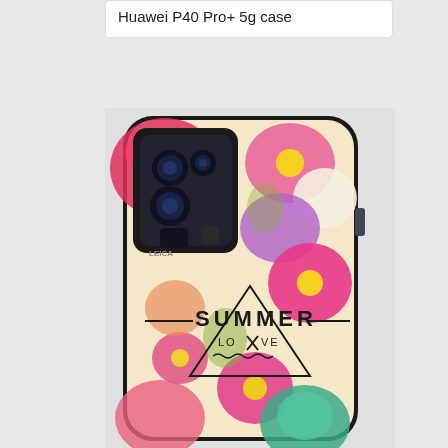Huawei P40 Pro+ 5g case
[Figure (photo): A Huawei P40 Pro+ 5G smartphone case with a colorful floral 'Summer Love' design, featuring pink, purple, white and teal flowers with a triangle graphic and the text SUMMER LOVE in the center.]